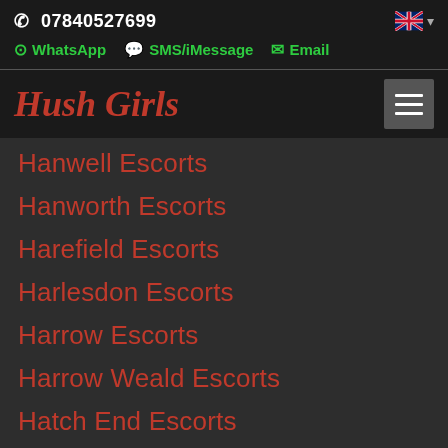07840527699
WhatsApp  SMS/iMessage  Email
Hush Girls
Hanwell Escorts
Hanworth Escorts
Harefield Escorts
Harlesdon Escorts
Harrow Escorts
Harrow Weald Escorts
Hatch End Escorts
Hayes Escorts
Heathrow Escorts
Heston Escorts
Hillingdon Escorts